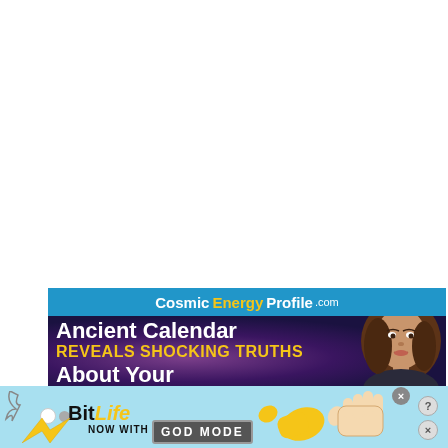[Figure (screenshot): Cosmic Energy Profile advertisement banner showing 'Cosmic Energy Profile.com' in blue header, with text 'Ancient Calendar REVEALS SHOCKING TRUTHS About Your' over a dark purple/navy background with a woman's face on the right side.]
[Figure (screenshot): BitLife mobile game advertisement showing 'BitLife NOW WITH GOD MODE' text in light blue background with thumbs up hand graphic, close and help buttons on the right.]